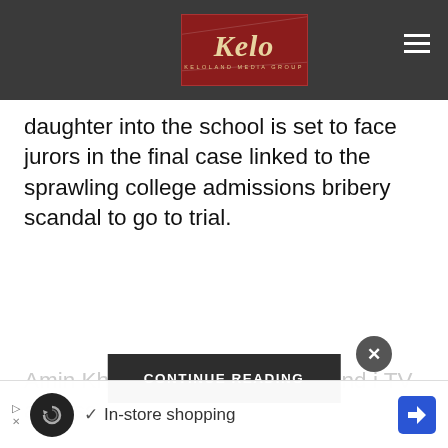Keloland Media Group
daughter into the school is set to face jurors in the final case linked to the sprawling college admissions bribery scandal to go to trial.
Amin Khoury is [CONTINUE READING] ith the mastermind i[...] TV actress...
[Figure (photo): Hand touching skin with mole — medical/dermatology image]
[Figure (screenshot): Advertisement bar: play button icon, loop icon, checkmark, In-store shopping text, navigation arrow icon]